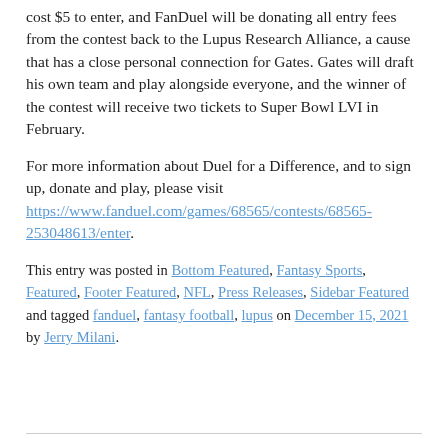cost $5 to enter, and FanDuel will be donating all entry fees from the contest back to the Lupus Research Alliance, a cause that has a close personal connection for Gates. Gates will draft his own team and play alongside everyone, and the winner of the contest will receive two tickets to Super Bowl LVI in February.
For more information about Duel for a Difference, and to sign up, donate and play, please visit https://www.fanduel.com/games/68565/contests/68565-253048613/enter.
This entry was posted in Bottom Featured, Fantasy Sports, Featured, Footer Featured, NFL, Press Releases, Sidebar Featured and tagged fanduel, fantasy football, lupus on December 15, 2021 by Jerry Milani.